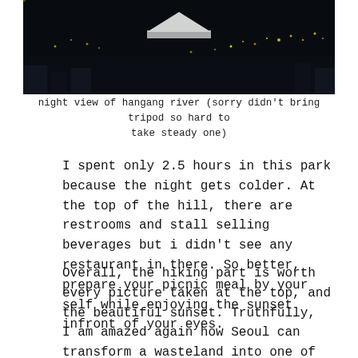[Figure (photo): Night view of Hangang river from a hill, city lights visible in the dark background with a white tent-like structure in the middle ground]
night view of hangang river (sorry didn't bring tripod so hard to take steady one)
I spent only 2.5 hours in this park because the night gets colder. At the top of the hill, there are restrooms and stall selling beverages but i didn't see any restaurant in there. So better, prepare your picnic meal by your self while enjoying the sunset infront of your eyes.
Overall, the hiking part is worth every picture taken at the top, and the beautiful sunset. Truthfully,  I am amazed again how Seoul can transform a wasteland into one of major festival that attract (I reckon) hundred thousands of visitor..per day.